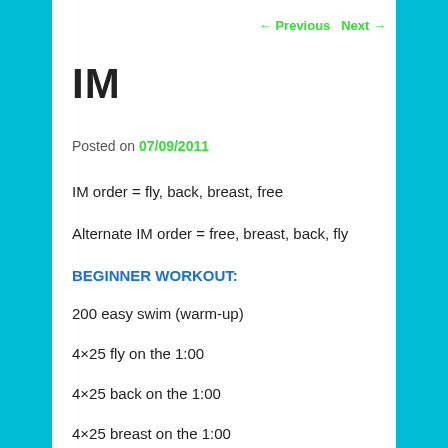← Previous   Next →
IM
Posted on 07/09/2011
IM order = fly, back, breast, free
Alternate IM order = free, breast, back, fly
BEGINNER WORKOUT:
200 easy swim (warm-up)
4×25 fly on the 1:00
4×25 back on the 1:00
4×25 breast on the 1:00